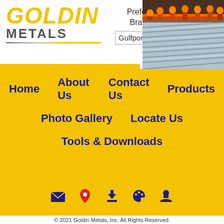[Figure (logo): Goldin Metals logo with yellow italic GOLDIN text and gray METALS text]
Preferred Branch: Gulfport, MS
[Figure (photo): Factory/manufacturing facility showing metal sheets and industrial equipment]
Home
About Us
Contact Us
Products
Photo Gallery
Locate Us
Tools & Downloads
also diminishes power plant emissions, cutting carbon dioxide by 780 million tons annually. (The figures include both commercial and residential buildings and are
[Figure (infographic): Bottom bar icons: email, map pin, download, palette, person]
© 2021 Goldin Metals, Inc. All Rights Reserved.